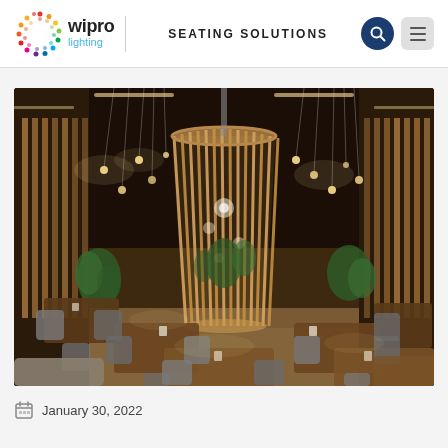wipro lighting | SEATING SOLUTIONS
[Figure (photo): Interior of a modern restaurant with warm lighting, wooden slatted large pendant lamp in center, multiple dining tables with upholstered chairs, hanging Edison bulb chandeliers, and green plants throughout.]
January 30, 2022